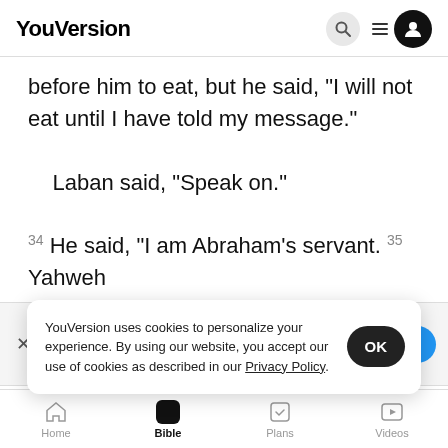YouVersion
before him to eat, but he said, “I will not eat until I have told my message.”
    Laban said, “Speak on.”
34 He said, “I am Abraham’s servant. 35 Yahweh
[Figure (screenshot): The Bible App download banner with icon, 5-star rating, 7.9M reviews, and Download button]
silver a
servant
master’s wife, bore a son to my master when she
YouVersion uses cookies to personalize your experience. By using our website, you accept our use of cookies as described in our Privacy Policy.
Home  Bible  Plans  Videos